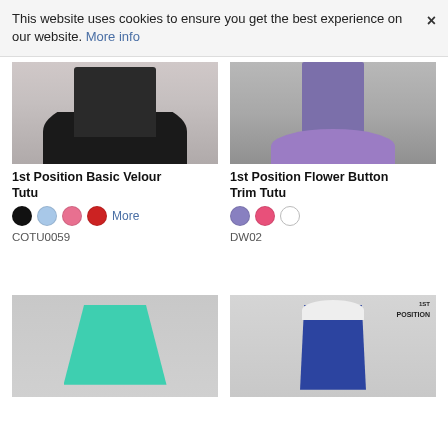This website uses cookies to ensure you get the best experience on our website. More info ×
[Figure (photo): Dancer wearing a black velour tutu, torso and lower body visible against light background]
[Figure (photo): Child wearing a purple flower button trim tutu, lower body and legs visible against grey background]
1st Position Basic Velour Tutu
1st Position Flower Button Trim Tutu
Color swatches: black, light blue, pink, red — More
Color swatches: lavender, hot pink, white
COTU0059
DW02
[Figure (photo): Young girl wearing a teal/turquoise sequined dance dress with hair accessory]
[Figure (photo): Young boy wearing a navy blue vest over white shirt with dark trousers, 1ST POSITION brand logo visible]